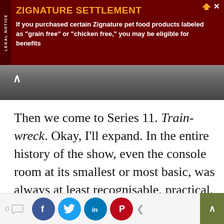[Figure (infographic): Dark red advertisement banner for Zignature Settlement legal notice. Yellow-orange title 'ZIGNATURE SETTLEMENT' with white body text about pet food class action. LEGAL NOTICE label on left side.]
[Figure (photo): Dark screenshot image strip with upward chevron arrow on left side.]
Then we come to Series 11. Train-wreck. Okay, I'll expand. In the entire history of the show, even the console room at its smallest or most basic, was always at least recognisable, practical, or designed with some semblance of common sense. You actually have to have
We use cookies on our website to give you the most relevant experience by remembering your preferences and repeat visits. By clicking “Accept”, you consent to the use of ALL the cookies.
Do not sell my personal information.
[Figure (screenshot): Cookie consent buttons: grey 'Cookie Settings' button and green 'Accept' button]